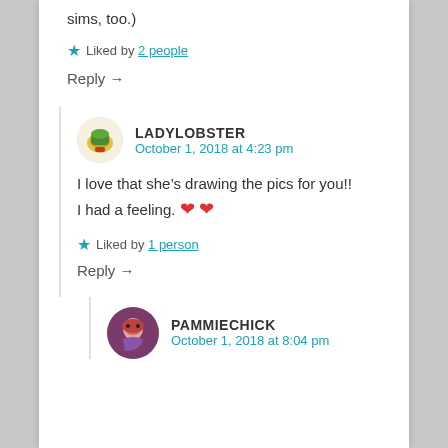sims, too.)
Liked by 2 people
Reply →
LADYLOBSTER
October 1, 2018 at 4:23 pm
I love that she's drawing the pics for you!! I had a feeling. ❤ ❤
Liked by 1 person
Reply →
PAMMIECHICK
October 1, 2018 at 8:04 pm